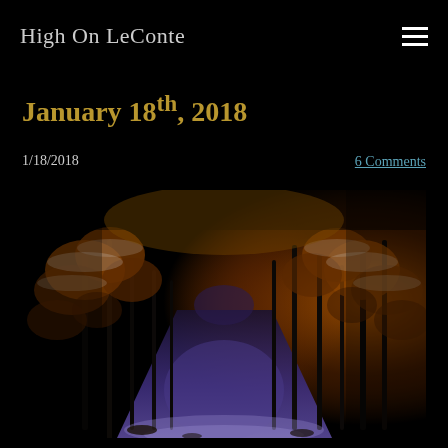High On LeConte
January 18th, 2018
1/18/2018
6 Comments
[Figure (photo): A snowy forest trail at dusk/night with warm orange light illuminating snow-covered trees on both sides, creating a tunnel-like path. The ground is covered with snow and the scene has a dramatic, moody atmosphere.]